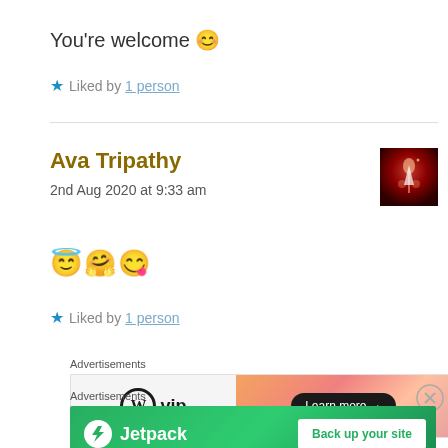You're welcome 😊
★ Liked by 1 person
Ava Tripathy
2nd Aug 2020 at 9:33 am
[Figure (photo): Small thumbnail avatar image with reddish/dark tones]
😇🤗😊
★ Liked by 1 person
Advertisements
[Figure (other): WordPress VIP advertisement banner with Learn more button]
Advertisements
[Figure (other): Jetpack advertisement banner with Back up your site button]